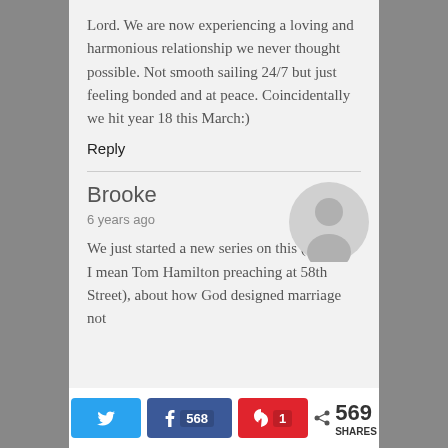Lord. We are now experiencing a loving and harmonious relationship we never thought possible. Not smooth sailing 24/7 but just feeling bonded and at peace. Coincidentally we hit year 18 this March:)
Reply
Brooke
6 years ago
[Figure (illustration): Gray circular avatar placeholder with silhouette of a person]
We just started a new series on this (by we, I mean Tom Hamilton preaching at 58th Street), about how God designed marriage not
569 SHARES  568  1